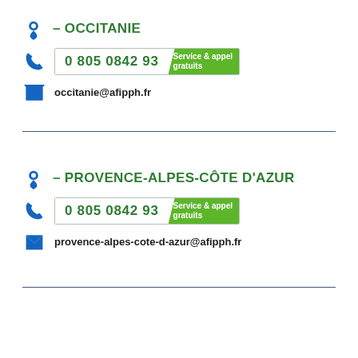– OCCITANIE
0 805 0842 93 | Service & appel gratuits
occitanie@afipph.fr
– PROVENCE-ALPES-CÔTE D'AZUR
0 805 0842 93 | Service & appel gratuits
provence-alpes-cote-d-azur@afipph.fr